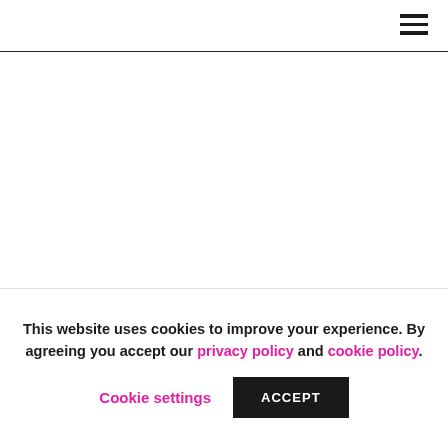[Figure (other): Blank white main content area below navigation header]
This website uses cookies to improve your experience. By agreeing you accept our privacy policy and cookie policy.
Cookie settings  ACCEPT